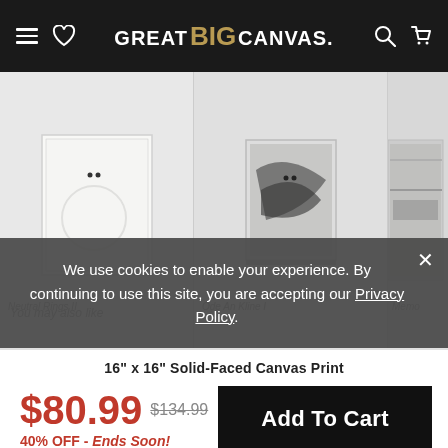GREAT BIG CANVAS
[Figure (screenshot): Three canvas art product images showing: Neutral Rings II (white/light abstract with circle), Ode An Kline I (dark abstract painting on easel), and a third partially visible artwork]
Neutral Rings II
Ode An Kline I
Memo
You may also like
We use cookies to enable your experience. By continuing to use this site, you are accepting our Privacy Policy.
16" x 16" Solid-Faced Canvas Print
$80.99
$134.99
40% OFF - Ends Soon!
Add To Cart